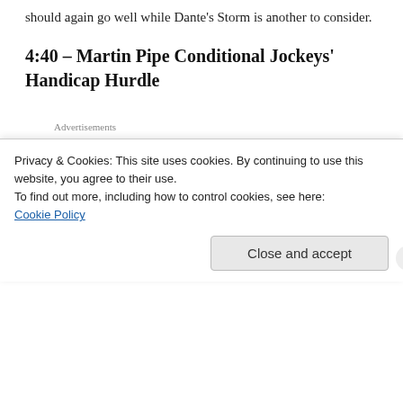should again go well while Dante's Storm is another to consider.
4:40 – Martin Pipe Conditional Jockeys' Handicap Hurdle
[Figure (other): Advertisement banner: 'Build a writing habit. GET THE APP' with WordPress logo icon]
Sir Des Champs looks interesting. A winner at Auteuil he went on to win his first start in Ireland for Willie Mullins
Privacy & Cookies: This site uses cookies. By continuing to use this website, you agree to their use.
To find out more, including how to control cookies, see here: Cookie Policy